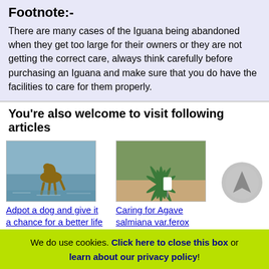Footnote:-
There are many cases of the Iguana being abandoned when they get too large for their owners or they are not getting the correct care, always think carefully before purchasing an Iguana and make sure that you do have the facilities to care for them properly.
You're also welcome to visit following articles
[Figure (photo): A dog standing in shallow water or muddy ground]
Adpot a dog and give it a chance for a better life
[Figure (photo): Agave salmiana var.ferox plant in outdoor setting]
Caring for Agave salmiana var.ferox
We do use cookies. Click here to close this box or learn about our privacy policy!